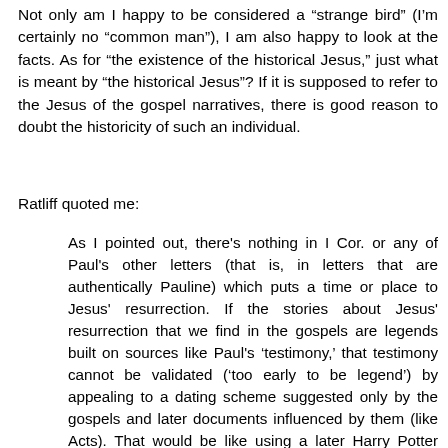Not only am I happy to be considered a “strange bird” (I’m certainly no “common man”), I am also happy to look at the facts. As for “the existence of the historical Jesus,” just what is meant by “the historical Jesus”? If it is supposed to refer to the Jesus of the gospel narratives, there is good reason to doubt the historicity of such an individual.
Ratliff quoted me:
As I pointed out, there’s nothing in I Cor. or any of Paul’s other letters (that is, in letters that are authentically Pauline) which puts a time or place to Jesus’ resurrection. If the stories about Jesus’ resurrection that we find in the gospels are legends built on sources like Paul’s ‘testimony,’ that testimony cannot be validated (‘too early to be legend’) by appealing to a dating scheme suggested only by the gospels and later documents influenced by them (like Acts). That would be like using a later Harry Potter book to ‘validate’ one earlier in the series.